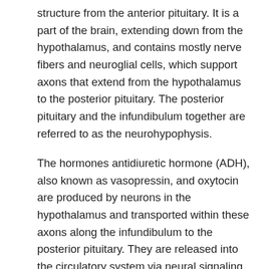structure from the anterior pituitary. It is a part of the brain, extending down from the hypothalamus, and contains mostly nerve fibers and neuroglial cells, which support axons that extend from the hypothalamus to the posterior pituitary. The posterior pituitary and the infundibulum together are referred to as the neurohypophysis.
The hormones antidiuretic hormone (ADH), also known as vasopressin, and oxytocin are produced by neurons in the hypothalamus and transported within these axons along the infundibulum to the posterior pituitary. They are released into the circulatory system via neural signaling from the hypothalamus. These hormones are considered to be posterior pituitary hormones, even though they are produced by the hypothalamus, because that is where they are released into the